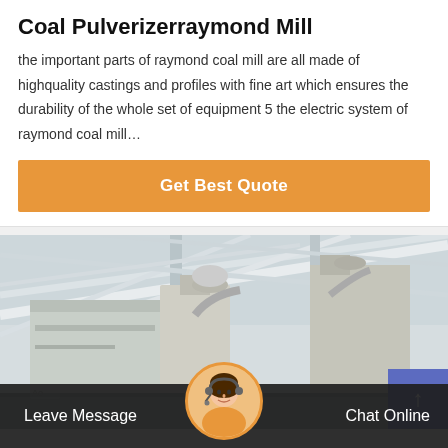Coal Pulverizerraymond Mill
the important parts of raymond coal mill are all made of highquality castings and profiles with fine art which ensures the durability of the whole set of equipment 5 the electric system of raymond coal mill…
[Figure (screenshot): Orange 'Get Best Quote' button]
[Figure (photo): Industrial interior photo showing large industrial grinding/milling equipment inside a warehouse with metal roof structure. A scroll-up button (indigo) is visible at the bottom right.]
Leave Message  Chat Online